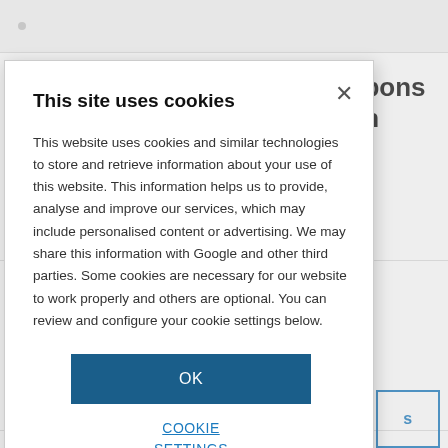[Figure (screenshot): Background webpage content partially visible behind a cookie consent modal dialog. Shows top browser-like bar with dot, partial heading text 'hydrocarbons' and 'ules with' on right side, a partial second heading 'niff out' and 'air', and a partial blue-outlined button with 's' visible.]
This site uses cookies
This website uses cookies and similar technologies to store and retrieve information about your use of this website. This information helps us to provide, analyse and improve our services, which may include personalised content or advertising. We may share this information with Google and other third parties. Some cookies are necessary for our website to work properly and others are optional. You can review and configure your cookie settings below.
OK
COOKIE SETTINGS